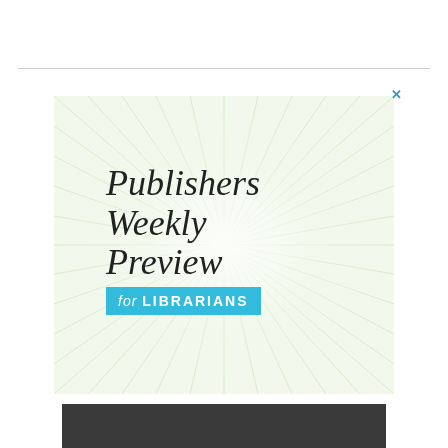[Figure (advertisement): Publishers Weekly Preview for Librarians advertisement. Light green/white background with radiating sunburst lines. Large italic serif text reads 'Publishers Weekly Preview' with a cyan/turquoise banner below reading 'for LIBRARIANS'. A small X close button in the top right corner.]
[Figure (other): Dark gray/charcoal strip at the bottom of the page, partial view.]